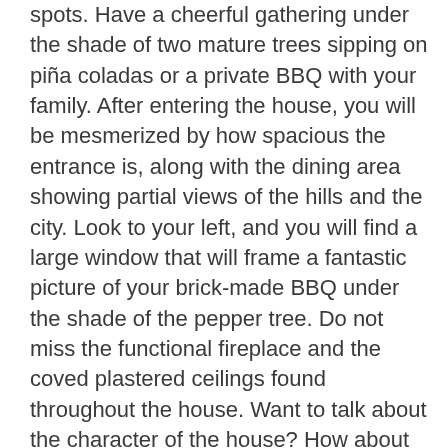spots. Have a cheerful gathering under the shade of two mature trees sipping on piña coladas or a private BBQ with your family. After entering the house, you will be mesmerized by how spacious the entrance is, along with the dining area showing partial views of the hills and the city. Look to your left, and you will find a large window that will frame a fantastic picture of your brick-made BBQ under the shade of the pepper tree. Do not miss the functional fireplace and the coved plastered ceilings found throughout the house. Want to talk about the character of the house? How about the Saltillo tile that adorns the floors throughout? Imagine yourself reading, writing, or playing music in the sunroom overlooking the city of Angels. Sip some wine after a long afternoon on your south-facing porch. The Bedrooms are more prominent than your typical two-bedroom home in this part of town, and they still conserve the original wooden floors. Both bedrooms have great views of either the front courtyard or the hills of the Ernest E. Debs Regional Park. The kitchen has a cozy space